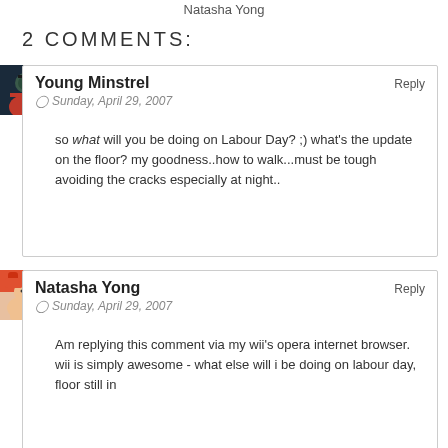Natasha Yong
2 COMMENTS:
Young Minstrel
Sunday, April 29, 2007
so what will you be doing on Labour Day? ;) what's the update on the floor? my goodness..how to walk...must be tough avoiding the cracks especially at night..
Natasha Yong
Sunday, April 29, 2007
Am replying this comment via my wii's opera internet browser. wii is simply awesome - what else will i be doing on labour day, floor still in